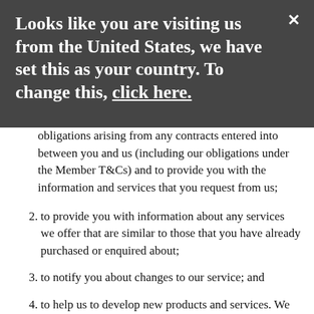[Figure (other): Dark overlay notification banner with text: 'Looks like you are visiting us from the United States, we have set this as your country. To change this, click here.' with a close (×) button in the top-right corner.]
obligations arising from any contracts entered into between you and us (including our obligations under the Member T&Cs) and to provide you with the information and services that you request from us;
2. to provide you with information about any services we offer that are similar to those that you have already purchased or enquired about;
3. to notify you about changes to our service; and
4. to help us to develop new products and services. We will also use information held about you in the following ways:
5. to administer our site and for internal operations, including troubleshooting, data analysis, testing, research, statistical and survey purposes;
6. to improve our site to ensure that content is